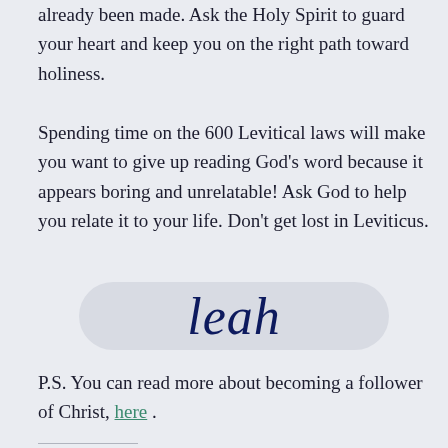already been made. Ask the Holy Spirit to guard your heart and keep you on the right path toward holiness.
Spending time on the 600 Levitical laws will make you want to give up reading God’s word because it appears boring and unrelatable! Ask God to help you relate it to your life. Don’t get lost in Leviticus.
[Figure (illustration): Cursive signature reading 'leah' in dark navy ink on a light grey rounded rectangular background]
P.S. You can read more about becoming a follower of Christ, here .